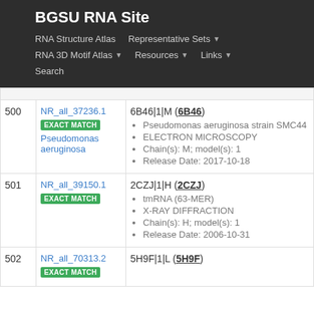BGSU RNA Site
RNA Structure Atlas | Representative Sets | RNA 3D Motif Atlas | Resources | Links | Search
| # | ID | Details |
| --- | --- | --- |
| 500 | NR_all_37236.1
EXACT MATCH
Pseudomonas aeruginosa | 6B46|1|M (6B46)
• Pseudomonas aeruginosa strain SMC44
• ELECTRON MICROSCOPY
• Chain(s): M; model(s): 1
• Release Date: 2017-10-18 |
| 501 | NR_all_39150.1
EXACT MATCH | 2CZJ|1|H (2CZJ)
• tmRNA (63-MER)
• X-RAY DIFFRACTION
• Chain(s): H; model(s): 1
• Release Date: 2006-10-31 |
| 502 | NR_all_70313.2
EXACT MATCH | 5H9F|1|L (5H9F) |